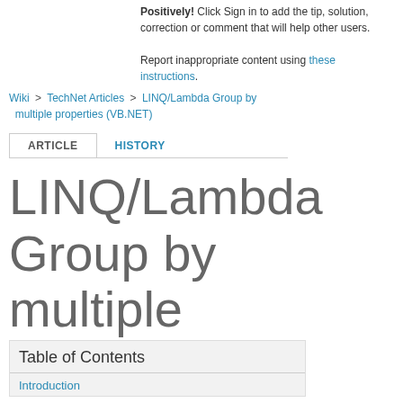Positively! Click Sign in to add the tip, solution, correction or comment that will help other users.

Report inappropriate content using these instructions.
Wiki > TechNet Articles > LINQ/Lambda Group by multiple properties (VB.NET)
LINQ/Lambda Group by multiple properties (VB.NET)
Table of Contents
Introduction